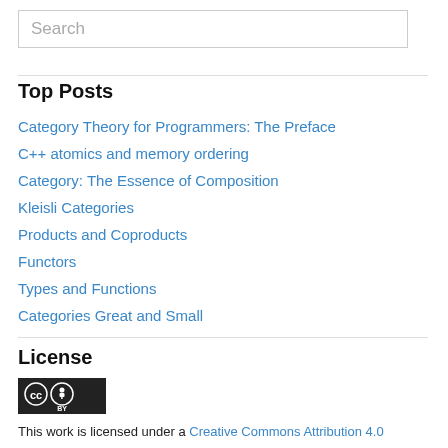[Figure (screenshot): Search input box with placeholder text 'Search']
Top Posts
Category Theory for Programmers: The Preface
C++ atomics and memory ordering
Category: The Essence of Composition
Kleisli Categories
Products and Coproducts
Functors
Types and Functions
Categories Great and Small
License
[Figure (logo): Creative Commons BY license badge]
This work is licensed under a Creative Commons Attribution 4.0